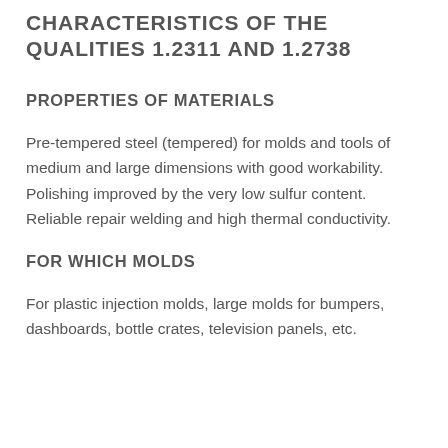CHARACTERISTICS OF THE QUALITIES 1.2311 AND 1.2738
PROPERTIES OF MATERIALS
Pre-tempered steel (tempered) for molds and tools of medium and large dimensions with good workability. Polishing improved by the very low sulfur content. Reliable repair welding and high thermal conductivity.
FOR WHICH MOLDS
For plastic injection molds, large molds for bumpers, dashboards, bottle crates, television panels, etc.